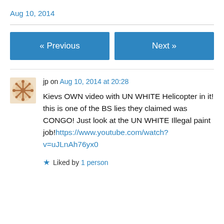Aug 10, 2014
« Previous
Next »
jp on Aug 10, 2014 at 20:28
Kievs OWN video with UN WHITE Helicopter in it! this is one of the BS lies they claimed was CONGO! Just look at the UN WHITE Illegal paint job!https://www.youtube.com/watch?v=uJLnAh76yx0
Liked by 1 person